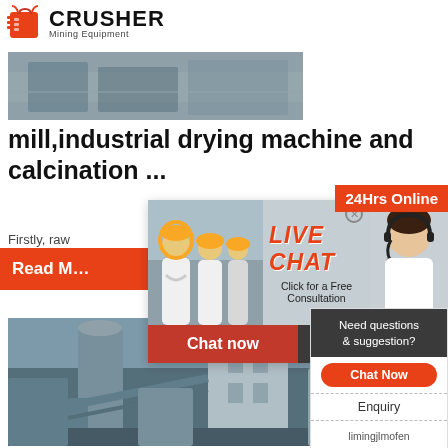[Figure (logo): Crusher Mining Equipment logo with red shopping bag icon and bold CRUSHER text]
[Figure (photo): Industrial machinery/equipment photo strip at top]
mill,industrial drying machine and calcination ...
Firstly, raw
[Figure (photo): Orange Read More button banner]
[Figure (infographic): Live Chat overlay popup with workers photo, LIVE CHAT text, Click for a Free Consultation, Chat now and Chat later buttons]
[Figure (photo): Industrial facility/plant photo at bottom left]
SBM U... Powder Techno... Indus... Grinding...
[Figure (infographic): Right sidebar panel: 24Hrs Online badge, Need questions & suggestion?, Chat Now button, Enquiry link, limingjlmofen@sina.com email]